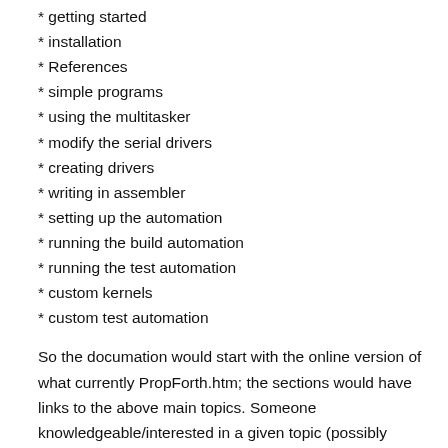* getting started
* installation
* References
* simple programs
* using the multitasker
* modify the serial drivers
* creating drivers
* writing in assembler
* setting up the automation
* running the build automation
* running the test automation
* custom kernels
* custom test automation
So the documation would start with the online version of what currently PropForth.htm; the sections would have links to the above main topics. Someone knowledgeable/interested in a given topic (possibly Loopy for serial drivers, caskaz for writing in assembler, for example) could contribute to or even own a given page.
From this, we could evolve a common method and possible